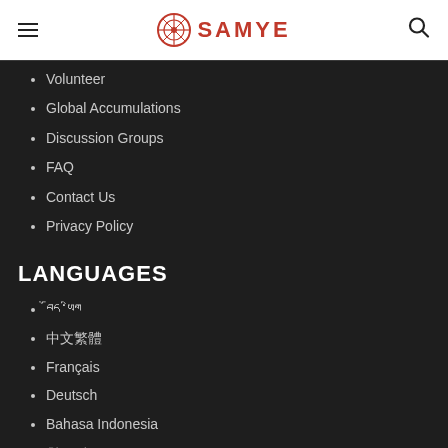SAMYE
Volunteer
Global Accumulations
Discussion Groups
FAQ
Contact Us
Privacy Policy
LANGUAGES
བོད་ཡིག
中文繁體
Français
Deutsch
Bahasa Indonesia
한국어
Русский